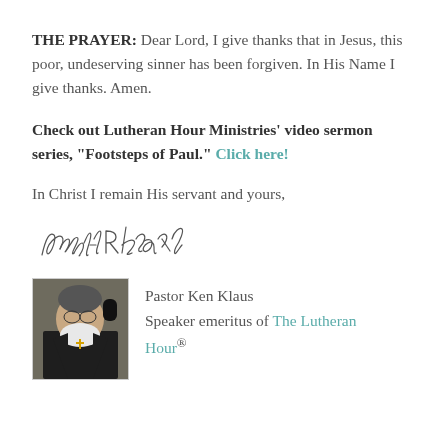THE PRAYER: Dear Lord, I give thanks that in Jesus, this poor, undeserving sinner has been forgiven. In His Name I give thanks. Amen.
Check out Lutheran Hour Ministries' video sermon series, "Footsteps of Paul." Click here!
In Christ I remain His servant and yours,
[Figure (illustration): Handwritten cursive signature reading 'Kenneth R. Klaus']
[Figure (photo): Headshot photo of Pastor Ken Klaus, an older man with white beard wearing clerical collar and cross necklace, holding a microphone]
Pastor Ken Klaus
Speaker emeritus of The Lutheran Hour®